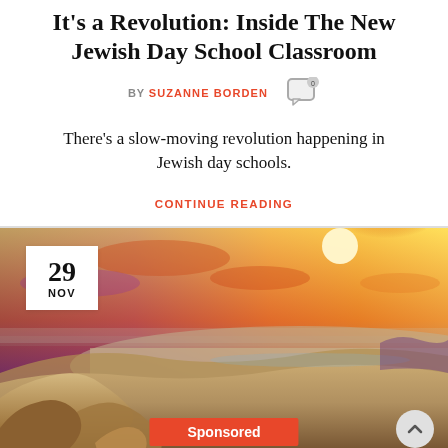It's a Revolution: Inside The New Jewish Day School Classroom
BY SUZANNE BORDEN
There's a slow-moving revolution happening in Jewish day schools.
CONTINUE READING
[Figure (photo): Desert landscape panorama at sunset with rocky cliffs in foreground and vast arid valley stretching to the horizon under a vivid orange and purple sky. Date badge shows '29 NOV'. Sponsored label at bottom.]